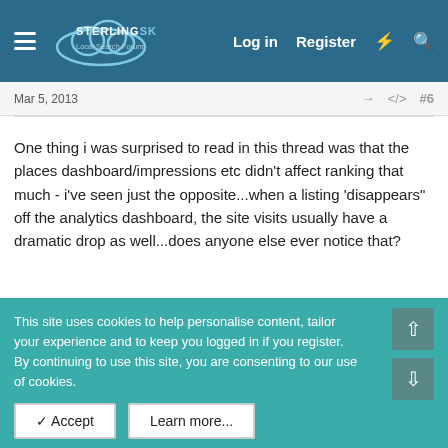Sterling Sky Local Search Forum — Log in | Register
Mar 5, 2013   #6
One thing i was surprised to read in this thread was that the places dashboard/impressions etc didn't affect ranking that much - i've seen just the opposite...when a listing 'disappears" off the analytics dashboard, the site visits usually have a dramatic drop as well...does anyone else ever notice that?
Linda Buquet — Moderator, Local Search Expert
Mar 5, 2013   #7
This site uses cookies to help personalise content, tailor your experience and to keep you logged in if you register.
By continuing to use this site, you are consenting to our use of cookies.